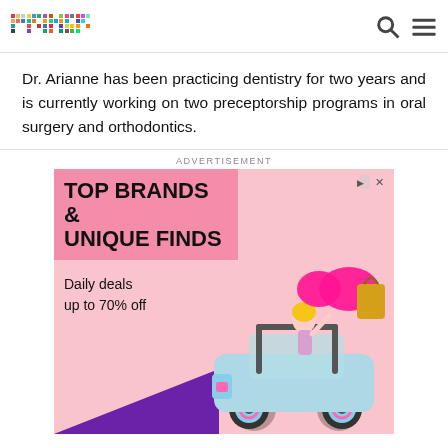primer
Dr. Arianne has been practicing dentistry for two years and is currently working on two preceptorship programs in oral surgery and orthodontics.
ADVERTISEMENT
[Figure (other): Advertisement banner: TOP BRANDS & UNIQUE FINDS. Daily deals up to 70% off. Pink background with a blue toy jeep and a Barbie doll with a pink bow. Purple triangle at bottom left.]